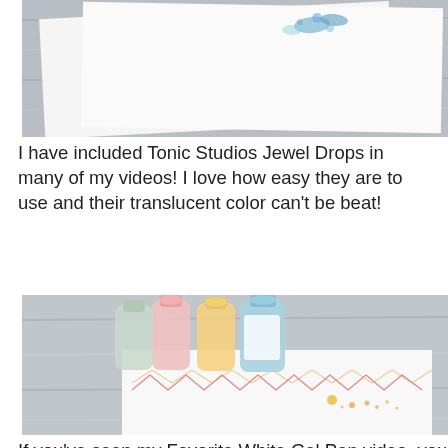[Figure (photo): Close-up photo of a white card with blue jewel drops/paint splatters on it, on a light wooden surface]
I have included Tonic Studios Jewel Drops in many of my videos! I love how easy they are to use and their translucent color can't be beat!
[Figure (photo): Photo of three Tonic Studios Jewel Drops bottles (pink, yellow, blue) resting on a white piece of paper that has colorful zigzag lines and drops on it, on a light wooden surface]
If you've seen my Favorite White Gel Pen video, you know I love the